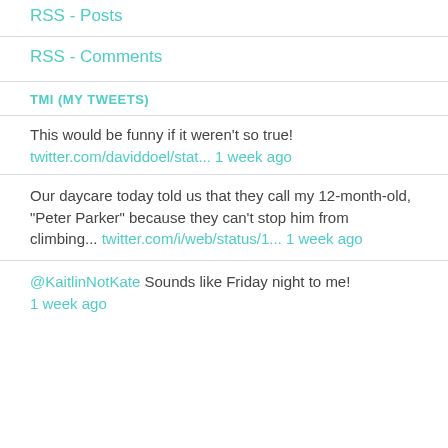RSS - Posts
RSS - Comments
TMI (MY TWEETS)
This would be funny if it weren't so true! twitter.com/daviddoel/stat... 1 week ago
Our daycare today told us that they call my 12-month-old, "Peter Parker" because they can't stop him from climbing... twitter.com/i/web/status/1... 1 week ago
@KaitlinNotKate Sounds like Friday night to me! 1 week ago